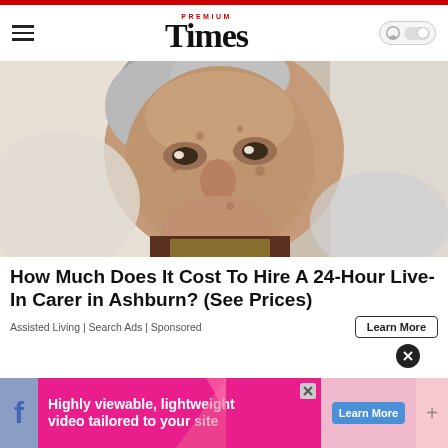PREMIUM Times
[Figure (photo): Close-up portrait of a very elderly woman with wrinkled face, grey hair, looking at camera, sitting up in what appears to be a bed or chair with white bedding behind her.]
How Much Does It Cost To Hire A 24-Hour Live-In Carer in Ashburn? (See Prices)
Assisted Living | Search Ads | Sponsored
[Figure (infographic): Advertisement banner: Highly viewable, lightweight video tailored to your site. Learn More button. Facebook logo on left side. Plus sign on right.]